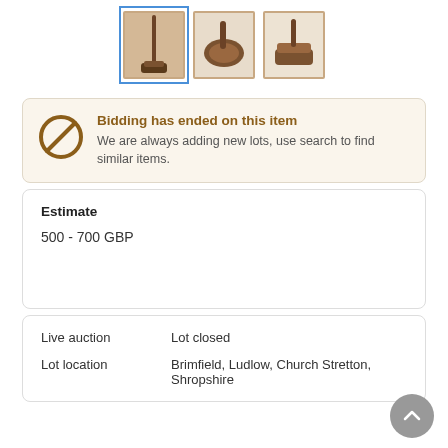[Figure (photo): Three thumbnail images of antique golf club putters shown from different angles. The first is selected with a blue border.]
Bidding has ended on this item
We are always adding new lots, use search to find similar items.
Estimate
500 - 700 GBP
| Live auction | Lot closed |
| Lot location | Brimfield, Ludlow, Church Stretton, Shropshire |